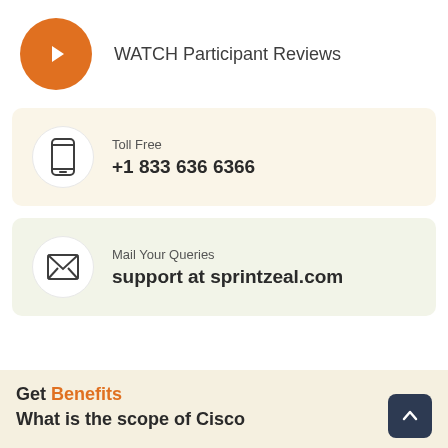WATCH Participant Reviews
Toll Free
+1 833 636 6366
Mail Your Queries
support at sprintzeal.com
Get Benefits
What is the scope of Cisco